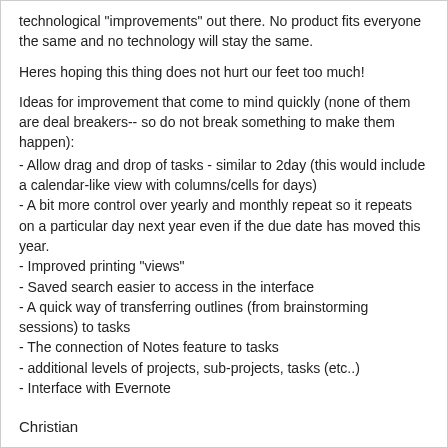technological "improvements" out there. No product fits everyone the same and no technology will stay the same.
Heres hoping this thing does not hurt our feet too much!
Ideas for improvement that come to mind quickly (none of them are deal breakers-- so do not break something to make them happen):
- Allow drag and drop of tasks - similar to 2day (this would include a calendar-like view with columns/cells for days)
- A bit more control over yearly and monthly repeat so it repeats on a particular day next year even if the due date has moved this year.
- Improved printing "views"
- Saved search easier to access in the interface
- A quick way of transferring outlines (from brainstorming sessions) to tasks
- The connection of Notes feature to tasks
- additional levels of projects, sub-projects, tasks (etc..)
- Interface with Evernote
Christian
This message was edited Jul 07, 2018.